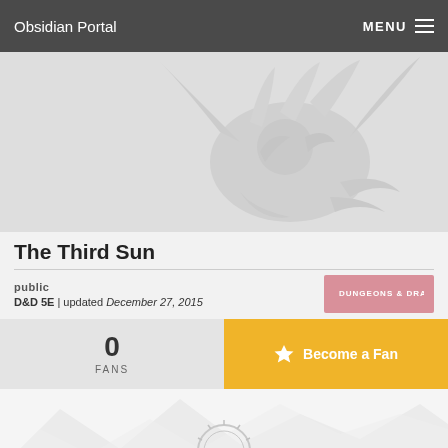Obsidian Portal | MENU
[Figure (illustration): Hero banner with stylized dragon illustration in light gray tones on a gray background]
The Third Sun
public
D&D 5E | updated December 27, 2015
[Figure (logo): Dungeons & Dragons logo badge in pink/red]
0 FANS
Become a Fan
[Figure (illustration): Mountain range silhouette in light gray at bottom of page]
[Figure (logo): Circular emblem/seal at bottom center of page, partially visible]